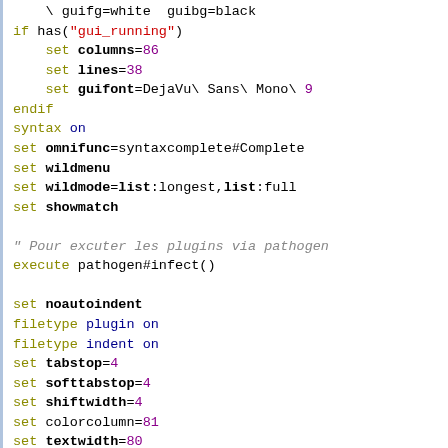vim configuration script showing syntax highlighting with keywords, options, strings, and numbers